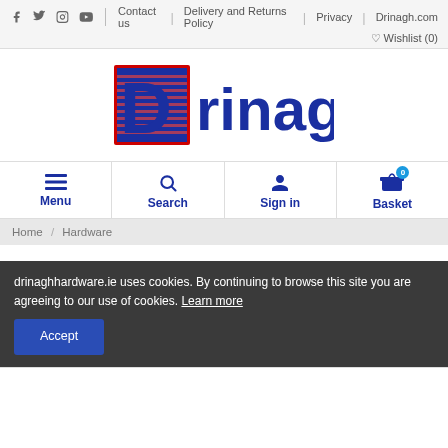Social icons: Facebook, Twitter, Instagram, YouTube | Contact us | Delivery and Returns Policy | Privacy | Drinagh.com | Wishlist (0)
[Figure (logo): Drinagh logo with red-bordered blue D icon and 'rinagh' text in dark blue]
Menu | Search | Sign in | Basket (0)
Home / Hardware
drinaghhardware.ie uses cookies. By continuing to browse this site you are agreeing to our use of cookies. Learn more
Accept